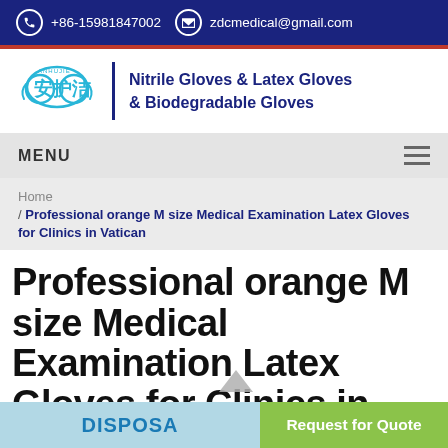+86-15981847002  zdcmedical@gmail.com
[Figure (logo): Anhujie brand logo with Chinese characters and cloud motif, beside text: Nitrile Gloves & Latex Gloves & Biodegradable Gloves]
MENU
Home / Professional orange M size Medical Examination Latex Gloves for Clinics in Vatican
Professional orange M size Medical Examination Latex Gloves for Clinics in Vatican
DISPOSA
Request for Quote